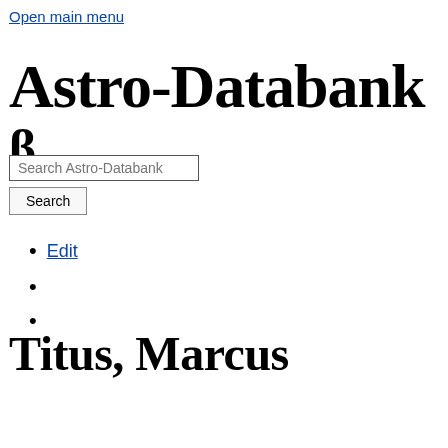Open main menu
Astro-Databank β
Search Astro-Databank
Edit
Titus, Marcus